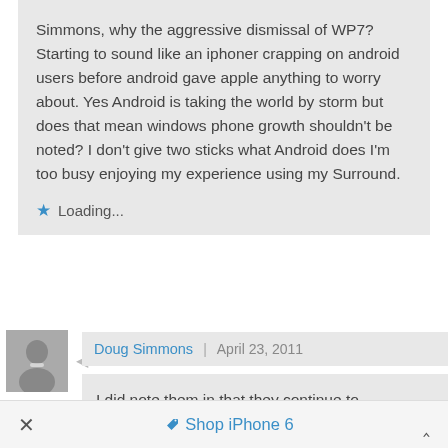Simmons, why the aggressive dismissal of WP7? Starting to sound like an iphoner crapping on android users before android gave apple anything to worry about. Yes Android is taking the world by storm but does that mean windows phone growth shouldn't be noted? I don't give two sticks what Android does I'm too busy enjoying my experience using my Surround.
Loading...
Doug Simmons | April 23, 2011
I did note them in that they continue to decelerate. Which is not what snowballs that eventually grow large enough to take things by
Shop iPhone 6